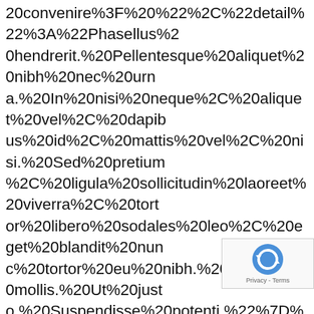20convenire%3F%20%22%2C%22detail%22%3A%22Phasellus%20hendrerit.%20Pellentesque%20aliquet%20nibh%20nec%20urna.%20In%20nisi%20neque%2C%20aliquet%20vel%2C%20dapibus%20id%2C%20mattis%20vel%2C%20nisi.%20Sed%20pretium%2C%20ligula%20sollicitudin%20laoreet%20viverra%2C%20tortor%20libero%20sodales%20leo%2C%20eget%20blandit%20nunc%20tortor%20eu%20nibh.%20Nullam%20mollis.%20Ut%20justo.%20Suspendisse%20potenti.%22%7D%2C%7B%22title%22%3A%22Has%20ne%20similique%20intellegam%3F%20%22%2C%22detail%22%3A%22Phasellus%20hendrerit.%20Pellentesque%20aliquet%20nibh%20nec%20urna.%20In%20nisi%20neque%2C%20aliquet%20vel%2C%20dapibus%20id%2C%20mattis%20vel%2C%20nisi.%20Sed%20pretium%2C%20ligula%20sollicitudin%20laoreet%20viverra%2C%20tortor%20libero%20sodales%20leo%2C%20eget%20blandit%20nunc%20tortor%20eu%20nibh.%20Nullam%20mollis.%20Ut%20justo.%20Suspendisse%20potenti.%22%7D%2C%7B%22title%22%3A%22Fu%20potentium%20tins
[Figure (other): reCAPTCHA widget with rotating arrow logo and 'Privacy - Terms' text]